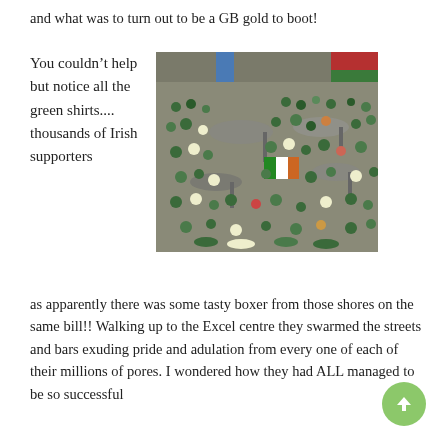and what was to turn out to be a GB gold to boot!
You couldn't help but notice all the green shirts.... thousands of Irish supporters
[Figure (photo): Aerial view of a large crowd of people wearing green shirts (Irish supporters) gathered in an outdoor area, with umbrellas/canopies visible, taken from above.]
as apparently there was some tasty boxer from those shores on the same bill!! Walking up to the Excel centre they swarmed the streets and bars exuding pride and adulation from every one of each of their millions of pores. I wondered how they had ALL managed to be so successful